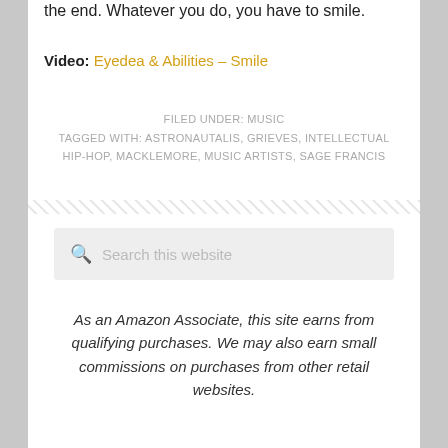the end. Whatever you do, you have to smile.
Video: Eyedea & Abilities – Smile
FILED UNDER: MUSIC
TAGGED WITH: ASTRONAUTALIS, GRIEVES, INTELLECTUAL HIP-HOP, MACKLEMORE, MUSIC ARTISTS, SAGE FRANCIS
[Figure (other): Decorative hatched divider line]
Search this website
As an Amazon Associate, this site earns from qualifying purchases. We may also earn small commissions on purchases from other retail websites.